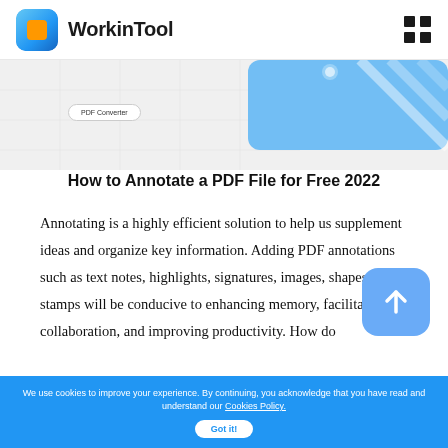WorkinTool
[Figure (screenshot): Partial screenshot of WorkinTool website showing a PDF Converter interface banner with blue decorative shapes on the right side]
How to Annotate a PDF File for Free 2022
Annotating is a highly efficient solution to help us supplement ideas and organize key information. Adding PDF annotations such as text notes, highlights, signatures, images, shapes, and stamps will be conducive to enhancing memory, facilitating collaboration, and improving productivity. How do
We use cookies to improve your experience. By continuing, you acknowledge that you have read and understand our Cookies Policy. Got it!